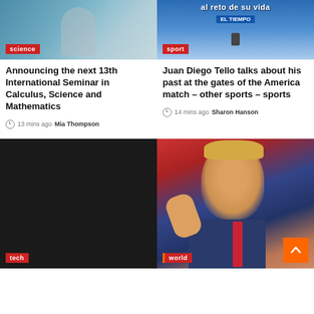[Figure (photo): Science article thumbnail with blue/teal background, person visible, 'science' red tag label]
[Figure (photo): Sport article thumbnail with blue background, 'al reto de su vida' text overlay, EL TIEMPO branding, 'sport' red tag label]
Announcing the next 13th International Seminar in Calculus, Science and Mathematics
13 mins ago  Mia Thompson
Juan Diego Tello talks about his past at the gates of the America match – other sports – sports
14 mins ago  Sharon Hanson
[Figure (photo): Tech article thumbnail with dark/black background, 'Tech' red tag label]
[Figure (photo): Donald Trump photo, man in blue suit and red tie raising hand, 'World' red tag label with orange left border, orange scroll-to-top button]